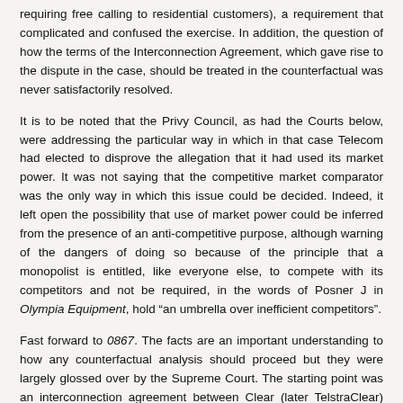requiring free calling to residential customers), a requirement that complicated and confused the exercise.  In addition, the question of how the terms of the Interconnection Agreement, which gave rise to the dispute in the case, should be treated in the counterfactual was never satisfactorily resolved.
It is to be noted that the Privy Council, as had the Courts below, were addressing the particular way in which in that case Telecom had elected to disprove the allegation that it had used its market power.  It was not saying that the competitive market comparator was the only way in which this issue could be decided.  Indeed, it left open the possibility that use of market power could be inferred from the presence of an anti-competitive purpose, although warning of the dangers of doing so because of the principle that a monopolist is entitled, like everyone else, to compete with its competitors and not be required, in the words of Posner J in Olympia Equipment, hold “an umbrella over inefficient competitors”.
Fast forward to 0867. The facts are an important understanding to how any counterfactual analysis should proceed but they were largely glossed over by the Supreme Court.  The starting point was an interconnection agreement between Clear (later TelstraClear) and Telecom entered into 1996.  This was the sequel to Telecom’s win in the Privy Council.  Its terms